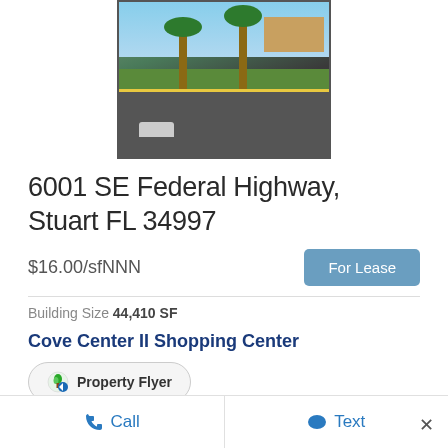[Figure (photo): Aerial/ground view of a shopping center parking lot with palm trees, cars, and commercial buildings]
6001 SE Federal Highway, Stuart FL 34997
$16.00/sfNNN
For Lease
Building Size 44,410 SF
Cove Center II Shopping Center
Property Flyer
Variety of leasing opportunities located at the Cove
Call   Text